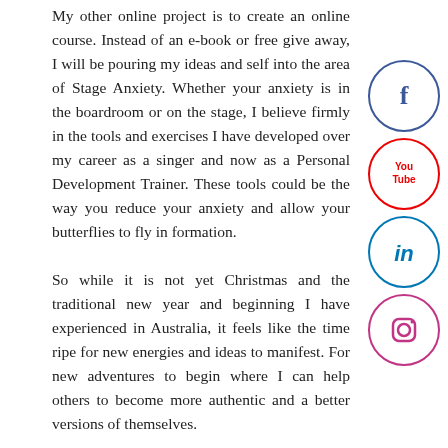My other online project is to create an online course. Instead of an e-book or free give away, I will be pouring my ideas and self into the area of Stage Anxiety. Whether your anxiety is in the boardroom or on the stage, I believe firmly in the tools and exercises I have developed over my career as a singer and now as a Personal Development Trainer. These tools could be the way you reduce your anxiety and allow your butterflies to fly in formation.

So while it is not yet Christmas and the traditional new year and beginning I have experienced in Australia, it feels like the time is ripe for new energies and ideas to manifest. For new adventures to begin where I can help others to become more authentic and a better versions of themselves.
[Figure (infographic): Social media icons arranged vertically on the right side: Facebook (blue circle with f), YouTube (red circle with You Tube text), LinkedIn (blue circle with in), Instagram (pink/purple circle with camera icon)]